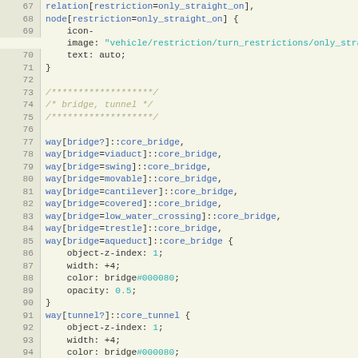[Figure (screenshot): Code editor screenshot showing CSS/MapCSS stylesheet code with line numbers 67-97, featuring syntax highlighting with blue keywords, teal values, and italic comments on a light yellow-green background.]